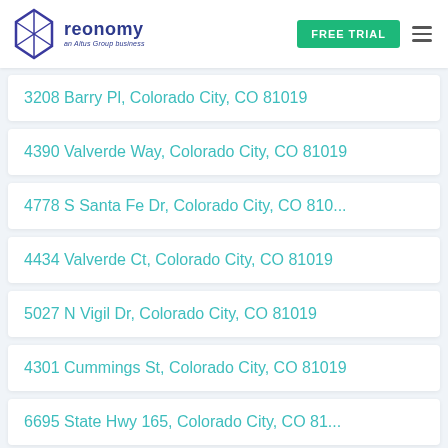reonomy — an Altus Group business | FREE TRIAL
3208 Barry Pl, Colorado City, CO 81019
4390 Valverde Way, Colorado City, CO 81019
4778 S Santa Fe Dr, Colorado City, CO 810...
4434 Valverde Ct, Colorado City, CO 81019
5027 N Vigil Dr, Colorado City, CO 81019
4301 Cummings St, Colorado City, CO 81019
6695 State Hwy 165, Colorado City, CO 81...